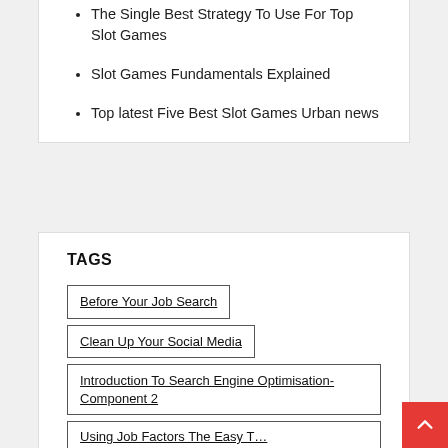The Single Best Strategy To Use For Top Slot Games
Slot Games Fundamentals Explained
Top latest Five Best Slot Games Urban news
TAGS
Before Your Job Search
Clean Up Your Social Media
Introduction To Search Engine Optimisation-Component 2